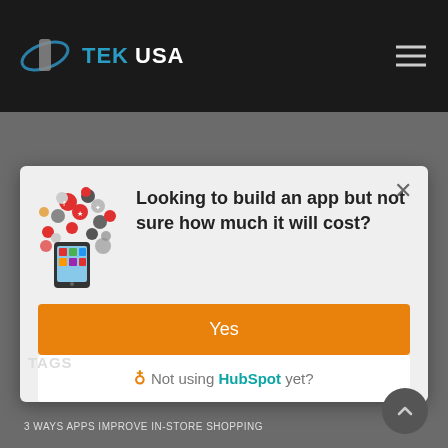TEK USA
[Figure (screenshot): Modal popup with app icon illustration showing social media icons around a smartphone, heading text 'Looking to build an app but not sure how much it will cost?', an orange 'Yes' button, and a white HubSpot CTA button with text 'Not using HubSpot yet?']
TAGS
3 WAYS APPS IMPROVE IN-STORE SHOPPING